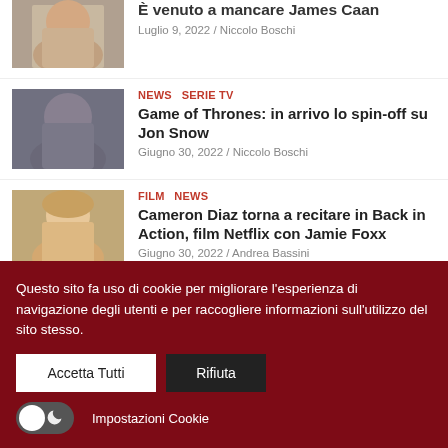[Figure (photo): Partial photo of an older man (James Caan) at top left]
È venuto a mancare James Caan
Luglio 9, 2022 / Niccolo Boschi
[Figure (photo): Photo of Jon Snow (Game of Thrones character)]
NEWS  SERIE TV
Game of Thrones: in arrivo lo spin-off su Jon Snow
Giugno 30, 2022 / Niccolo Boschi
[Figure (photo): Photo of Cameron Diaz]
FILM  NEWS
Cameron Diaz torna a recitare in Back in Action, film Netflix con Jamie Foxx
Giugno 30, 2022 / Andrea Bassini
[Figure (photo): Partial photo of a person (partially visible, cut off by cookie banner)]
NEWS
Questo sito fa uso di cookie per migliorare l'esperienza di navigazione degli utenti e per raccogliere informazioni sull'utilizzo del sito stesso.
Accetta Tutti  Rifiuta  Impostazioni Cookie